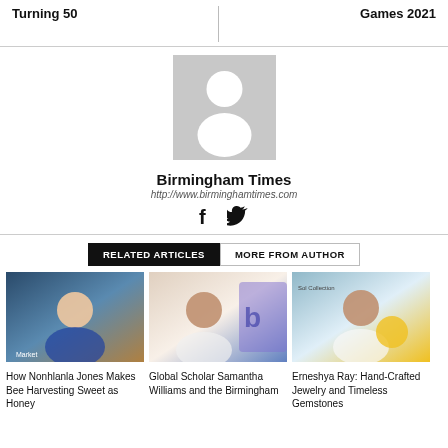Turning 50
Games 2021
[Figure (illustration): Generic author avatar placeholder: grey square with white silhouette of a person (head and shoulders)]
Birmingham Times
http://www.birminghamtimes.com
[Figure (illustration): Social media icons: Facebook 'f' and Twitter bird icon]
RELATED ARTICLES | MORE FROM AUTHOR
[Figure (photo): Photo of a woman smiling at an outdoor market]
How Nonhlanla Jones Makes Bee Harvesting Sweet as Honey
[Figure (photo): Photo of a woman smiling in front of a logo]
Global Scholar Samantha Williams and the Birmingham
[Figure (photo): Photo of a woman smiling at a vendor booth with jewelry]
Erneshya Ray: Hand-Crafted Jewelry and Timeless Gemstones